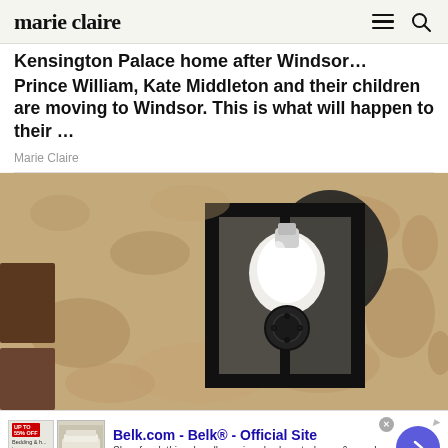marie claire
Kensington Palace home after Windsor…
Prince William, Kate Middleton and their children are moving to Windsor. This is what will happen to their …
Marie Claire
[Figure (photo): Close-up photo of an outdoor wall-mounted black metal lantern fixture with a security camera light bulb installed inside it, mounted on a textured stucco wall]
Belk.com - Belk® - Official Site
Shop for clothing, handbags, jewelry, beauty, home & more!
www.belk.com